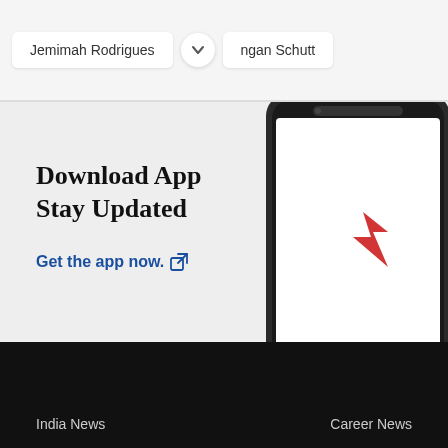Jemimah Rodrigues
ngan Schutt
Download App
Stay Updated
Get the app now.
[Figure (screenshot): Smartphone showing a red logo on a white screen]
India News   Career News